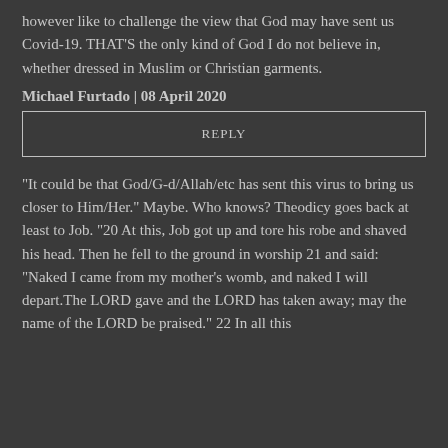however like to challenge the view that God may have sent us Covid-19. THAT'S the only kind of God I do not believe in, whether dressed in Muslim or Christian garments.
Michael Furtado | 08 April 2020
REPLY
“It could be that God/G-d/Allah/etc has sent this virus to bring us closer to Him/Her.” Maybe. Who knows? Theodicy goes back at least to Job. “20 At this, Job got up and tore his robe and shaved his head. Then he fell to the ground in worship 21 and said: “Naked I came from my mother’s womb, and naked I will depart.The LORD gave and the LORD has taken away; may the name of the LORD be praised.” 22 In all this